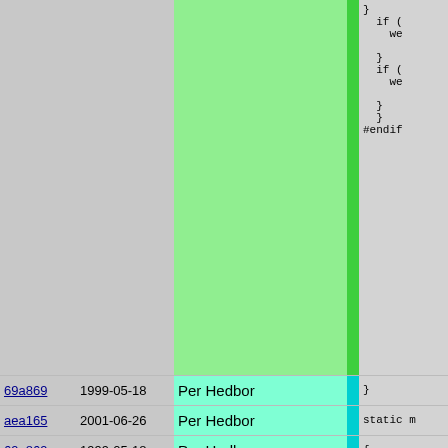[Figure (screenshot): Git blame view showing code annotations with commit hash, date, author, color stripe, and source code columns. Top large block shows a gray/green area with code fragments. Below are individual line rows.]
| Hash | Date | Author | Stripe | Code |
| --- | --- | --- | --- | --- |
| 69a869 | 1999-05-18 | Per Hedbor | cyan | } |
| aea165 | 2001-06-26 | Per Hedbor | cyan | static m |
| 69a869 | 1999-05-18 | Per Hedbor | cyan | { |
| 796ebc | 2007-01-10 | Martin Jonsson | purple | if( ar |
| e7ac49 | 2003-04-06 | Anders Johansson | yellow-green | { |
| 796ebc | 2007-01-10 | Martin Jonsson | purple | item
retu |
| e7ac49 | 2003-04-06 | Anders Johansson | yellow-green | } |
| 6e05b2 | 2001-01-01 | Martin Nilsson | peach |  |
| 23b7ec | 2001-08-27 | Per Hedbor | turquoise | #ifdef ARG |
| 678926 | 2001-09-06 | Per Hedbor | cyan | werror |